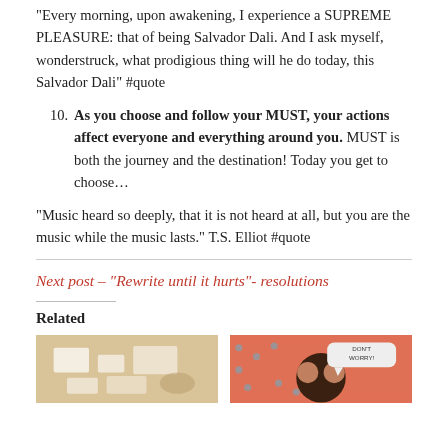“Every morning, upon awakening, I experience a SUPREME PLEASURE: that of being Salvador Dali. And I ask myself, wonderstruck, what prodigious thing will he do today, this Salvador Dali” #quote
10. As you choose and follow your MUST, your actions affect everyone and everything around you. MUST is both the journey and the destination! Today you get to choose…
“Music heard so deeply, that it is not heard at all, but you are the music while the music lasts.” T.S. Elliot #quote
Next post – “Rewrite until it hurts”- resolutions
Related
[Figure (photo): Photo of papers/notes on a light brown surface, related post thumbnail]
[Figure (illustration): Comic-style illustration with speech bubble saying DON'T WORRY!, related post thumbnail]